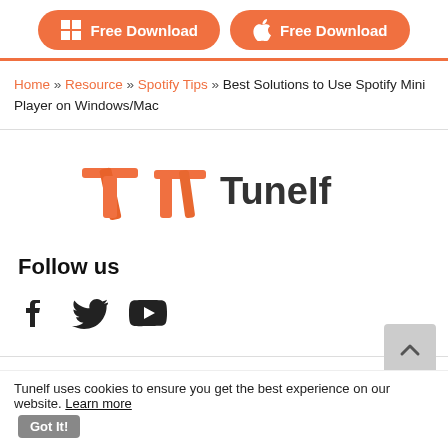Free Download (Windows) | Free Download (Mac)
Home » Resource » Spotify Tips » Best Solutions to Use Spotify Mini Player on Windows/Mac
[Figure (logo): TuneIf logo with orange T-slash icon and bold TuneIf text]
Follow us
[Figure (other): Social media icons: Facebook, Twitter, YouTube]
Products
Tunelf uses cookies to ensure you get the best experience on our website. Learn more  Got It!